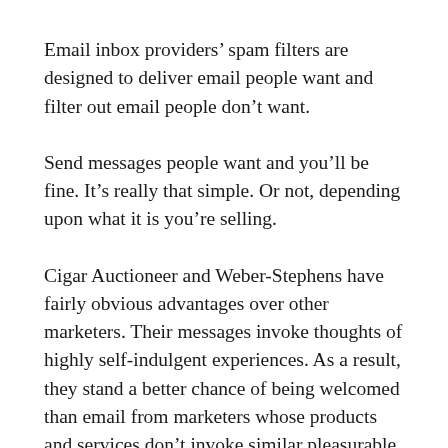Email inbox providers' spam filters are designed to deliver email people want and filter out email people don't want.
Send messages people want and you'll be fine. It's really that simple. Or not, depending upon what it is you're selling.
Cigar Auctioneer and Weber-Stephens have fairly obvious advantages over other marketers. Their messages invoke thoughts of highly self-indulgent experiences. As a result, they stand a better chance of being welcomed than email from marketers whose products and services don't invoke similar pleasurable thoughts.